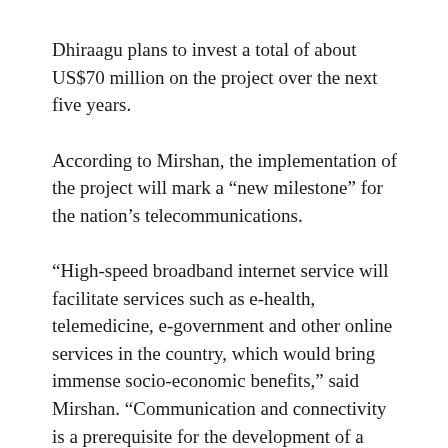Dhiraagu plans to invest a total of about US$70 million on the project over the next five years.
According to Mirshan, the implementation of the project will mark a “new milestone” for the nation’s telecommunications.
“High-speed broadband internet service will facilitate services such as e-health, telemedicine, e-government and other online services in the country, which would bring immense socio-economic benefits,” said Mirshan. “Communication and connectivity is a prerequisite for the development of a nation,” he added.
He noted that online businesses and the tourism sector would benefit immensely from the project, as their online operations such as ticketing, bookings